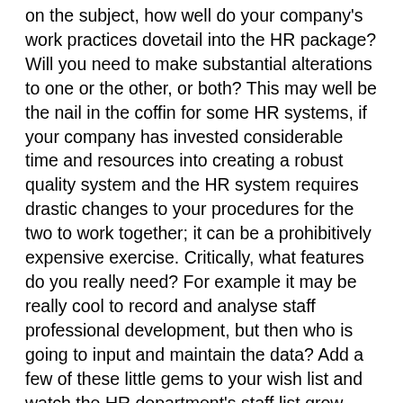on the subject, how well do your company's work practices dovetail into the HR package? Will you need to make substantial alterations to one or the other, or both? This may well be the nail in the coffin for some HR systems, if your company has invested considerable time and resources into creating a robust quality system and the HR system requires drastic changes to your procedures for the two to work together; it can be a prohibitively expensive exercise. Critically, what features do you really need? For example it may be really cool to record and analyse staff professional development, but then who is going to input and maintain the data? Add a few of these little gems to your wish list and watch the HR department's staff list grow alarmingly. However, there is another way to approach the capture of employee data and that is "self service"; employees have the ability to input a lot of their own data. It would not be too difficult to have the employees input any training they